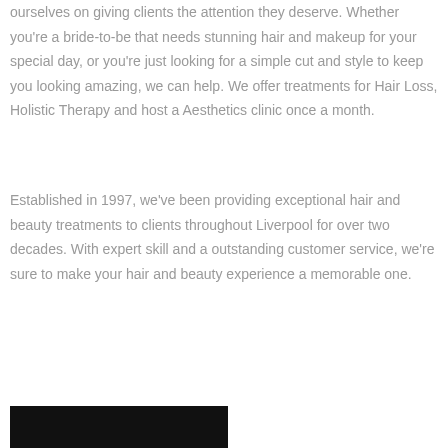ourselves on giving clients the attention they deserve. Whether you're a bride-to-be that needs stunning hair and makeup for your special day, or you're just looking for a simple cut and style to keep you looking amazing, we can help. We offer treatments for Hair Loss, Holistic Therapy and host a Aesthetics clinic once a month.
Established in 1997, we've been providing exceptional hair and beauty treatments to clients throughout Liverpool for over two decades. With expert skill and a outstanding customer service, we're sure to make your hair and beauty experience a memorable one.
[Figure (photo): Black rectangular image at the bottom of the page]